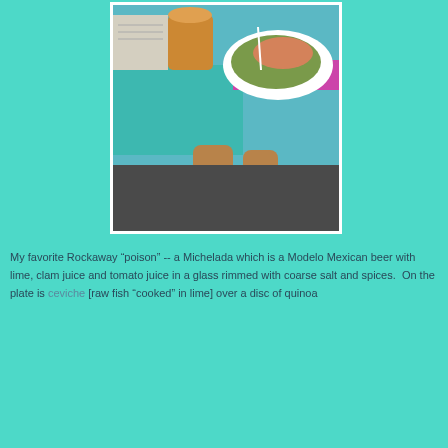[Figure (photo): Photo of a Michelada drink and a plate of ceviche over quinoa on a colorful table, with someone's legs visible below]
My favorite Rockaway "poison" -- a Michelada which is a Modelo Mexican beer with lime, clam juice and tomato juice in a glass rimmed with coarse salt and spices.  On the plate is ceviche [raw fish "cooked" in lime] over a disc of quinoa